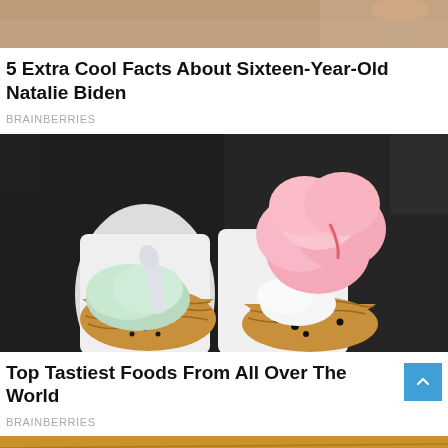[Figure (photo): Partial top image, appears to be cropped photo of a person's hand, shown as a narrow strip at the top of the page]
5 Extra Cool Facts About Sixteen-Year-Old Natalie Biden
BRAINBERRIES
[Figure (photo): Photo of two waffle ice cream cones held side by side. Left cone has mint/green ice cream in a waffle bowl with a spoon. Right cone has pink/strawberry scoops with white and dark cookies and cream ice cream, wrapped in white paper.]
Top Tastiest Foods From All Over The World
BRAINBERRIES
[Figure (photo): Partial bottom image showing the top of a person's head, appears to be sitting at a wooden table.]